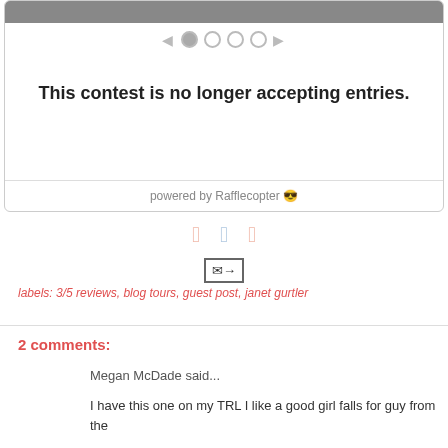[Figure (screenshot): Rafflecopter widget showing a contest that is no longer accepting entries, with carousel navigation dots and powered by Rafflecopter footer]
[Figure (infographic): Social sharing icons: Facebook, Twitter, Pinterest in light salmon color, and an email forward icon]
labels: 3/5 reviews, blog tours, guest post, janet gurtler
2 comments:
Megan McDade said...
I have this one on my TRL I like a good girl falls for guy from the